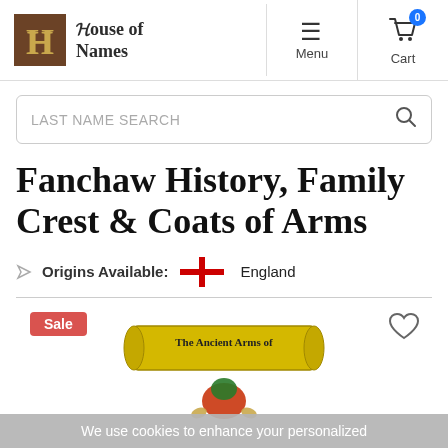[Figure (logo): House of Names logo with gothic H in brown box and blackletter text]
[Figure (illustration): Hamburger menu icon and Menu label]
[Figure (illustration): Shopping cart icon with blue badge showing 0, Cart label]
LAST NAME SEARCH
Fanchaw History, Family Crest & Coats of Arms
Origins Available:   England
[Figure (illustration): England flag cross of St George red cross on white, and scroll banner reading The Ancient Arms of with heraldic dragon illustration]
Sale
We use cookies to enhance your personalized